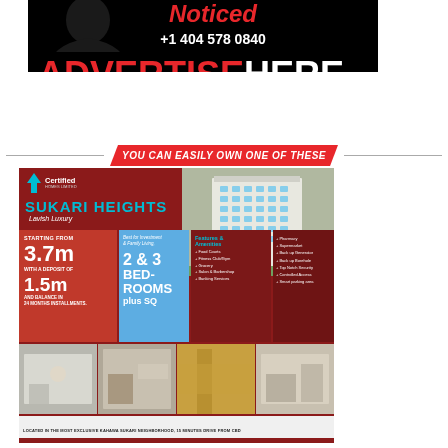[Figure (infographic): Black advertisement banner with silhouette of person, red 'Noticed' text, phone number +1 404 578 0840, and bold ADVERTISE HERE text in red and white on black background]
YOU CAN EASILY OWN ONE OF THESE
[Figure (infographic): Sukari Heights real estate advertisement. Certified Homes Limited logo, phone 0711 128 128, website www.certifiedhomes.co.ke. Starting from 3.7m with a deposit of 1.5m and balance in 24 months installments. 2 & 3 bedrooms plus SQ. Features & Amenities: Food Courts, Fitness Club/Gym, Grocery, Salon & Barbershop, Banking Services, Pharmacy, Supermarket, Back up Generator, Back up Borehole, Top Notch Security, Controlled Access, Smart parking area. Interior and exterior building photos.]
LOCATED IN THE MOST EXCLUSIVE KAHAWA SUKARI NEIGHBORHOOD, 15 MINUTES DRIVE FROM CBD